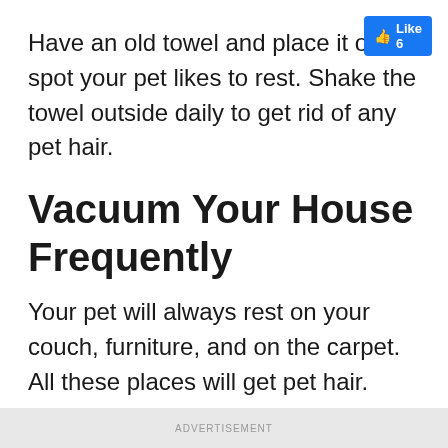[Figure (screenshot): Facebook Like button showing 6 likes in top-right corner]
Have an old towel and place it on a spot your pet likes to rest. Shake the towel outside daily to get rid of any pet hair.
Vacuum Your House Frequently
Your pet will always rest on your couch, furniture, and on the carpet. All these places will get pet hair. You, therefore, need quality vacuum cleaners to get rid of all pet fur, dust, and other debris
ADVERTISEMENT